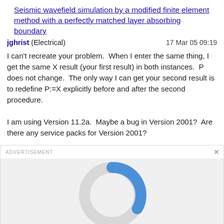Seismic wavefield simulation by a modified finite element method with a perfectly matched layer absorbing boundary
jghrist (Electrical)    17 Mar 05 09:19
I can't recreate your problem.  When I enter the same thing, I get the same X result (your first result) in both instances.  P does not change.  The only way I can get your second result is to redefine P:=X explicitly before and after the second procedure.

I am using Version 11.2a.  Maybe a bug in Version 2001?  Are there any service packs for Version 2001?
[Figure (other): Advertisement placeholder showing a loading spinner (donut/ring shape) — a gray circular ring with a blue arc segment indicating loading, on a light gray background.]